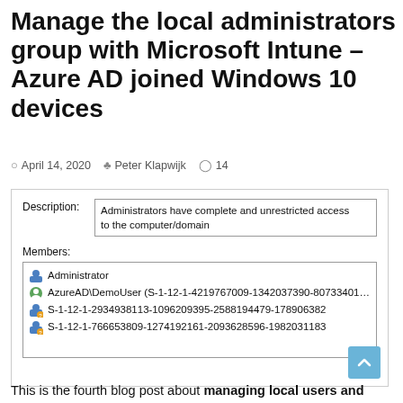Manage the local administrators group with Microsoft Intune – Azure AD joined Windows 10 devices
April 14, 2020  Peter Klapwijk  14
[Figure (screenshot): Windows local Administrators group properties dialog showing Description field with 'Administrators have complete and unrestricted access to the computer/domain' and Members list including Administrator, AzureAD\DemoUser (S-1-12-1-4219767009-1342037390-80733401...), S-1-12-1-2934938113-1096209395-2588194479-178906382, S-1-12-1-766653809-1274192161-2093628596-1982031183]
This is the fourth blog post about managing local users and